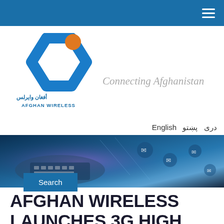Afghan Wireless navigation bar with hamburger menu
[Figure (logo): Afghan Wireless logo: blue hexagon shape with orange circle dot, and Arabic/English text 'AFGHAN WIRELESS' below]
Connecting Afghanistan
دری  پښتو  English
[Figure (photo): Hero banner with hands using technology devices, floating digital communication icons on dark blue background]
Search
AFGHAN WIRELESS LAUNCHES 3G HIGH SPEED